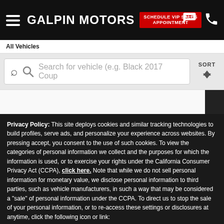GALPIN MOTORS — SCHEDULE VIP SALES APPOINTMENT
All Vehicles
Search for vehicle (e.g. Black 2017 Coup
Privacy Policy: This site deploys cookies and similar tracking technologies to build profiles, serve ads, and personalize your experience across websites. By pressing accept, you consent to the use of such cookies. To view the categories of personal information we collect and the purposes for which the information is used, or to exercise your rights under the California Consumer Privacy Act (CCPA), click here. Note that while we do not sell personal information for monetary value, we disclose personal information to third parties, such as vehicle manufacturers, in such a way that may be considered a "sale" of personal information under the CCPA. To direct us to stop the sale of your personal information, or to re-access these settings or disclosures at anytime, click the following icon or link:
Do Not Sell My Personal Information
Language:  English
Powered by ComplyAuto
Accept and Continue →   California Privacy Disclosures